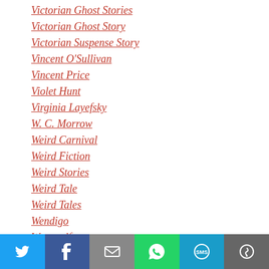Victorian Ghost Stories
Victorian Ghost Story
Victorian Suspense Story
Vincent O'Sullivan
Vincent Price
Violet Hunt
Virginia Layefsky
W. C. Morrow
Weird Carnival
Weird Fiction
Weird Stories
Weird Tale
Weird Tales
Wendigo
Werewolf
Werewolf Stories
[Figure (other): Social share bar with Twitter, Facebook, Email, WhatsApp, SMS, and More buttons]